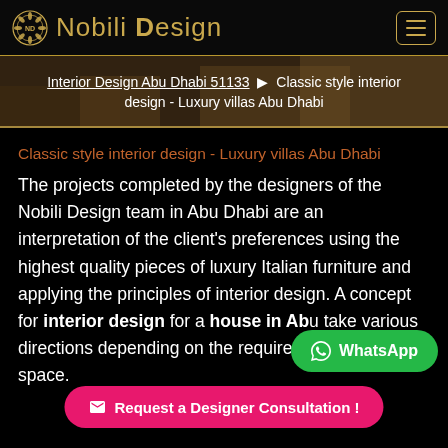Nobili Design
[Figure (screenshot): Breadcrumb navigation banner showing interior design photo background with overlay text: Interior Design Abu Dhabi 51133 ▶ Classic style interior design - Luxury villas Abu Dhabi]
Classic style interior design - Luxury villas Abu Dhabi
The projects completed by the designers of the Nobili Design team in Abu Dhabi are an interpretation of the client's preferences using the highest quality pieces of luxury Italian furniture and applying the principles of interior design. A concept for interior design for a house in Ab... take various directions depending on the requirements ar... that space.